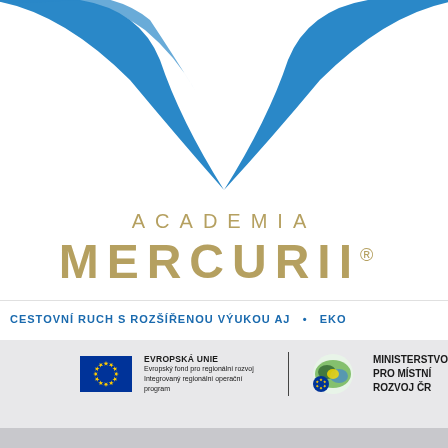[Figure (logo): Academia Mercurii logo with blue stylized open book/wings shape above the gold text ACADEMIA MERCURII with registered trademark symbol]
CESTOVNÍ RUCH S ROZŠÍŘENOU VÝUKOU AJ  •  EKO
[Figure (logo): EU flag logo with text: EVROPSKÁ UNIE, Evropský fond pro regionální rozvoj, Integrovaný regionální operační program; and Ministry for Regional Development CZ (Ministerstvo pro místní rozvoj ČR) logo]